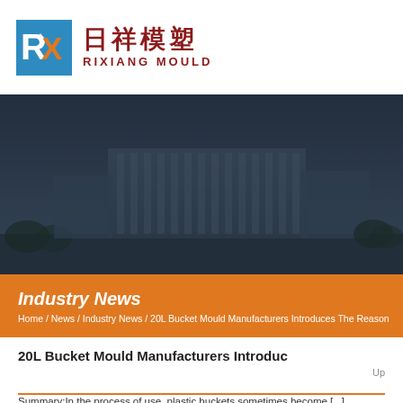[Figure (logo): Rixiang Mould company logo with Chinese characters 日祥模塑 and English text RIXIANG MOULD]
[Figure (photo): Exterior view of a large industrial or commercial building complex at dusk with dark blue sky]
Industry News
Home / News / Industry News / 20L Bucket Mould Manufacturers Introduces The Reason
20L Bucket Mould Manufacturers Introduc
Up
Summary:In the process of use, plastic buckets sometimes become [...]